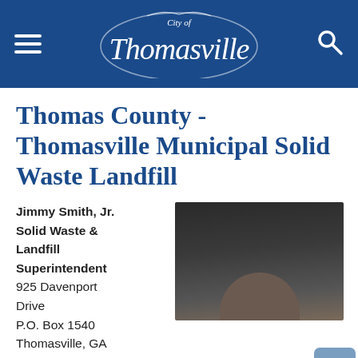City of Thomasville — navigation header with hamburger menu, logo, and search icon
Thomas County - Thomasville Municipal Solid Waste Landfill
Jimmy Smith, Jr. Solid Waste & Landfill Superintendent
925 Davenport Drive
P.O. Box 1540
Thomasville, GA 31799
(229) 225-4316
[Figure (photo): Portrait photo of a person, partially visible, dark background]